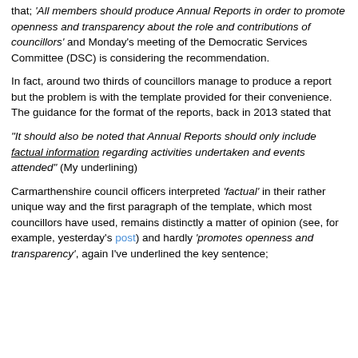that; 'All members should produce Annual Reports in order to promote openness and transparency about the role and contributions of councillors' and Monday's meeting of the Democratic Services Committee (DSC) is considering the recommendation.
In fact, around two thirds of councillors manage to produce a report but the problem is with the template provided for their convenience. The guidance for the format of the reports, back in 2013 stated that
"It should also be noted that Annual Reports should only include factual information regarding activities undertaken and events attended" (My underlining)
Carmarthenshire council officers interpreted 'factual' in their rather unique way and the first paragraph of the template, which most councillors have used, remains distinctly a matter of opinion (see, for example, yesterday's post) and hardly 'promotes openness and transparency', again I've underlined the key sentence;